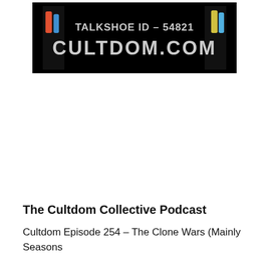[Figure (logo): Black banner image with text 'TALKSHOE ID - 54821' on top and 'CULTDOM.COM' in large letters below, with decorative character silhouettes on the sides]
The Cultdom Collective Podcast
Cultdom Episode 254 – The Clone Wars (Mainly Seasons